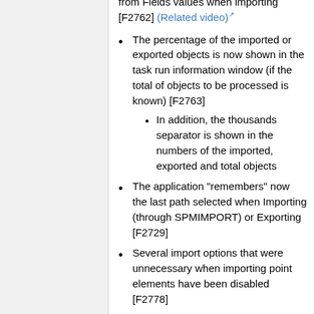from Fields values when importing [F2762] (Related video)
The percentage of the imported or exported objects is now shown in the task run information window (if the total of objects to be processed is known) [F2763]
In addition, the thousands separator is shown in the numbers of the imported, exported and total objects
The application "remembers" now the last path selected when Importing (through SPMIMPORT) or Exporting [F2729]
Several import options that were unnecessary when importing point elements have been disabled [F2778]